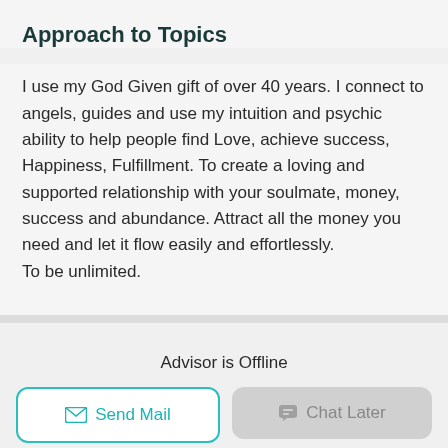Approach to Topics
I use my God Given gift of over 40 years. I connect to angels, guides and use my intuition and psychic ability to help people find Love, achieve success, Happiness, Fulfillment. To create a loving and supported relationship with your soulmate, money, success and abundance. Attract all the money you need and let it flow easily and effortlessly. To be unlimited.
Advisor is Offline
[Figure (other): Send Mail button with mail icon, teal border and text]
[Figure (other): Chat Later button with chat icon, gray background and text]